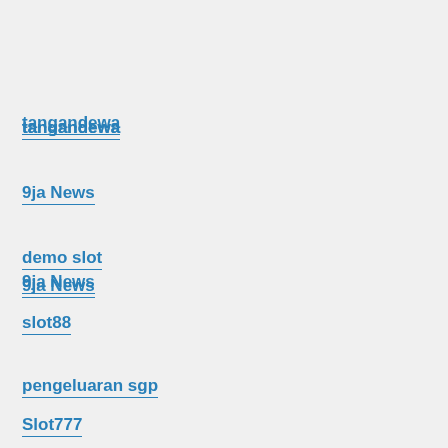tangandewa
9ja News
demo slot
slot88
pengeluaran sgp
Slot777